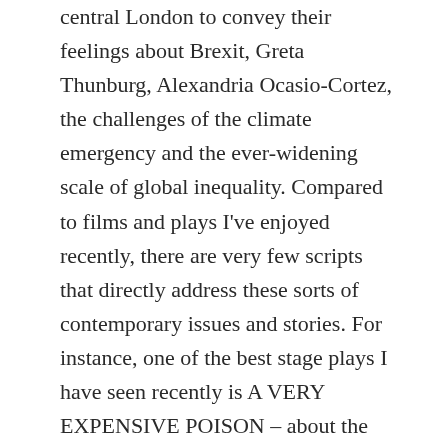central London to convey their feelings about Brexit, Greta Thunburg, Alexandria Ocasio-Cortez, the challenges of the climate emergency and the ever-widening scale of global inequality. Compared to films and plays I've enjoyed recently, there are very few scripts that directly address these sorts of contemporary issues and stories. For instance, one of the best stage plays I have seen recently is A VERY EXPENSIVE POISON – about the state-sponsored murder of Alexander Litvinenko in London; and I'm greatly looking forward to the BBC / Dancing Ledge productions